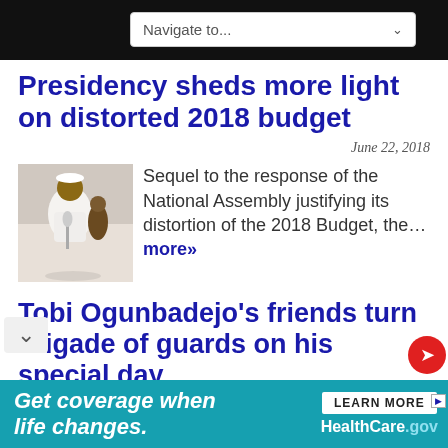Navigate to...
Presidency sheds more light on distorted 2018 budget
June 22, 2018
[Figure (photo): A person in white traditional attire standing at a podium with microphone]
Sequel to the response of the National Assembly justifying its distortion of the 2018 Budget, the… more»
Tobi Ogunbadejo's friends turn brigade of guards on his special day
Get coverage when life changes.
LEARN MORE   HealthCare.gov